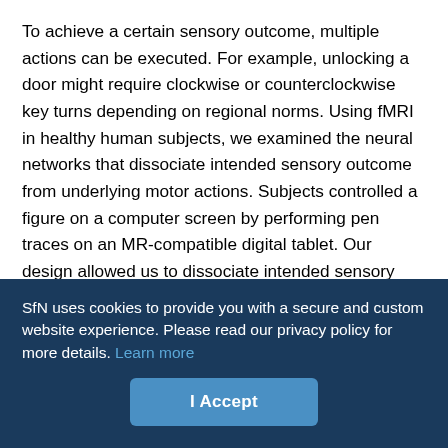To achieve a certain sensory outcome, multiple actions can be executed. For example, unlocking a door might require clockwise or counterclockwise key turns depending on regional norms. Using fMRI in healthy human subjects, we examined the neural networks that dissociate intended sensory outcome from underlying motor actions. Subjects controlled a figure on a computer screen by performing pen traces on an MR-compatible digital tablet. Our design allowed us to dissociate intended sensory outcome (moving the figure in a certain direction) from the underlying motor action (horizontal/vertical pen traces). Using multivoxel pattern analysis and a whole-brain searchlight strategy, we found that activity patterns in left (contralateral) motor and parietal cortex and also right (ipsilateral) motor cortex significantly discriminated direction of pen traces
SfN uses cookies to provide you with a secure and custom website experience. Please read our privacy policy for more details. Learn more